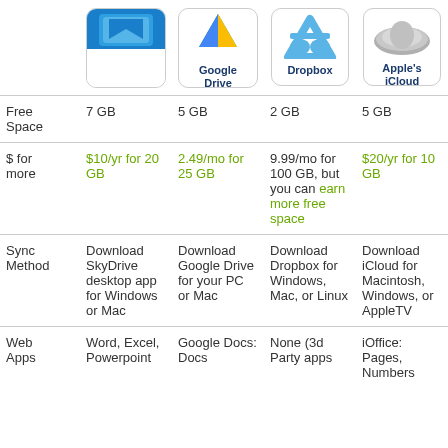|  | Microsoft SkyDrive | Google Drive | Dropbox | Apple's iCloud |
| --- | --- | --- | --- | --- |
| Free Space | 7 GB | 5 GB | 2 GB | 5 GB |
| $ for more | $10/yr for 20 GB | 2.49/mo for 25 GB | 9.99/mo for 100 GB, but you can earn more free space | $20/yr for 10 GB |
| Sync Method | Download SkyDrive desktop app for Windows or Mac | Download Google Drive for your PC or Mac | Download Dropbox for Windows, Mac, or Linux | Download iCloud for Macintosh, Windows, or AppleTV |
| Web Apps | Word, Excel, Powerpoint | Google Docs: Docs | None (3d Party apps | iOffice: Pages, Numbers |